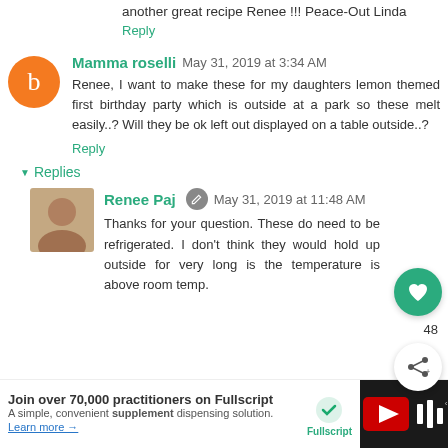another great recipe Renee !!! Peace-Out Linda
Reply
Mamma roselli  May 31, 2019 at 3:34 AM
Renee, I want to make these for my daughters lemon themed first birthday party which is outside at a park so these melt easily..? Will they be ok left out displayed on a table outside..?
Reply
Replies
Renee Paj  May 31, 2019 at 11:48 AM
Thanks for your question. These do need to be refrigerated. I don't think they would hold up outside for very long is the temperature is above room temp.
[Figure (infographic): Fullscript advertisement banner: Join over 70,000 practitioners on Fullscript - A simple, convenient supplement dispensing solution. Learn more arrow. Fullscript logo.]